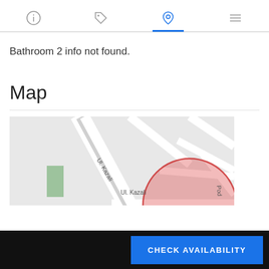Navigation icons: info, tag, location (active), menu
Bathroom 2 info not found.
Map
[Figure (map): Street map showing Ul. Kazali area with a red circle/highlight overlay indicating a location. Green rectangle building visible on left side. Street labels: Ul. Kazali, Ul. Kazali, Pod.]
CHECK AVAILABILITY